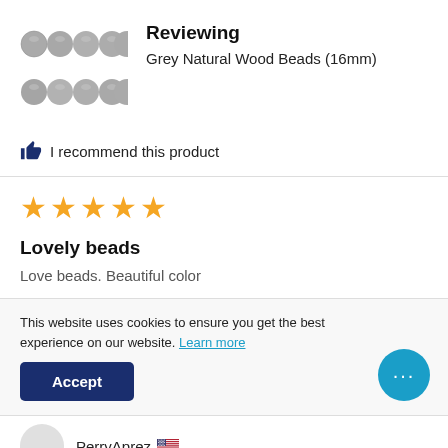[Figure (photo): Photo of grey natural wood beads arranged in two strands]
Reviewing
Grey Natural Wood Beads (16mm)
👍 I recommend this product
[Figure (other): Five yellow star rating icons]
Lovely beads
Love beads. Beautiful color
This website uses cookies to ensure you get the best experience on our website. Learn more
Accept
PerryAprez 🇺🇸